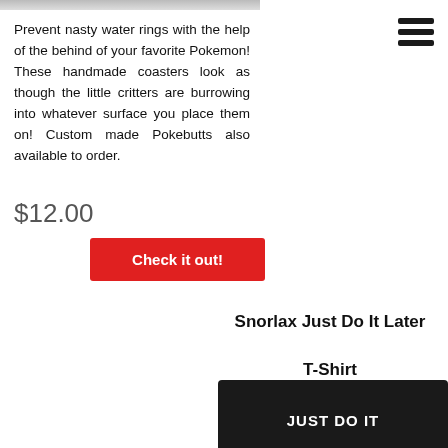[Figure (photo): Top portion of a product image (coaster), cropped at top of page]
Prevent nasty water rings with the help of the behind of your favorite Pokemon! These handmade coasters look as though the little critters are burrowing into whatever surface you place them on! Custom made Pokebutts also available to order.
$12.00
Check it out!
Snorlax Just Do It Later T-Shirt
[Figure (photo): Man wearing a black t-shirt with JUST DO IT printed on it]